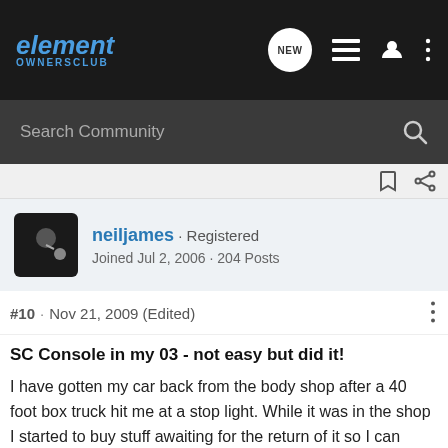element OWNERSCLUB
Search Community
neiljames · Registered
Joined Jul 2, 2006 · 204 Posts
#10 · Nov 21, 2009 (Edited)
SC Console in my 03 - not easy but did it!
I have gotten my car back from the body shop after a 40 foot box truck hit me at a stop light. While it was in the shop I started to buy stuff awaiting for the return of it so I can play. Well among the latest mods to my E was putting in a 09 SC console in my 03. After looking through the boards I got just enough info from photos to get started, but had much guess work. It has been completed and I am very happy with the results. I covered